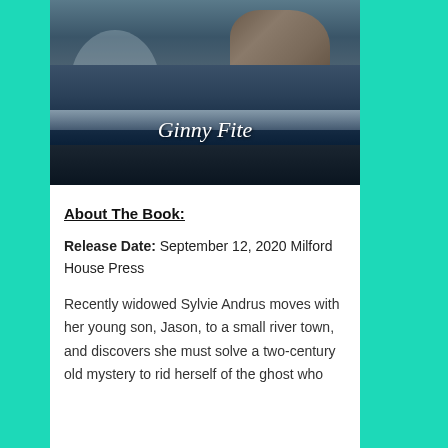[Figure (photo): Book cover photo showing coastal rocky cliffs, ocean waves, and a dark shore. Author name 'Ginny Fite' displayed in white italic text over the image.]
About The Book:
Release Date: September 12, 2020 Milford House Press
Recently widowed Sylvie Andrus moves with her young son, Jason, to a small river town, and discovers she must solve a two-century old mystery to rid herself of the ghost who